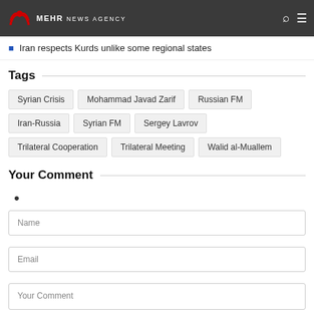MEHR NEWS AGENCY
Iran respects Kurds unlike some regional states
Tags
Syrian Crisis | Mohammad Javad Zarif | Russian FM | Iran-Russia | Syrian FM | Sergey Lavrov | Trilateral Cooperation | Trilateral Meeting | Walid al-Muallem
Your Comment
Name
Email
Your Comment